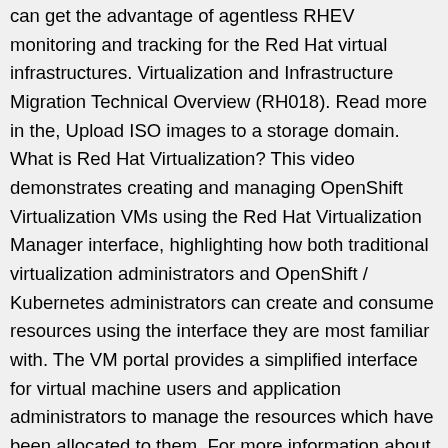can get the advantage of agentless RHEV monitoring and tracking for the Red Hat virtual infrastructures. Virtualization and Infrastructure Migration Technical Overview (RH018). Read more in the, Upload ISO images to a storage domain. What is Red Hat Virtualization? This video demonstrates creating and managing OpenShift Virtualization VMs using the Red Hat Virtualization Manager interface, highlighting how both traditional virtualization administrators and OpenShift / Kubernetes administrators can create and consume resources using the interface they are most familiar with. The VM portal provides a simplified interface for virtual machine users and application administrators to manage the resources which have been allocated to them. For more information about Red Hat Virtualization, see the Red Hat Customer Portal or the Red Hat Virtualization documentation suite. Built on an ecosystem of platform and partner solutions and integrated with Red Hat Enterprise Linux, Red Hat Ansible Automation Platform, Red Hat OpenStack® Platform, and Red Hat OpenShift to improve overall IT productivity and drive a higher